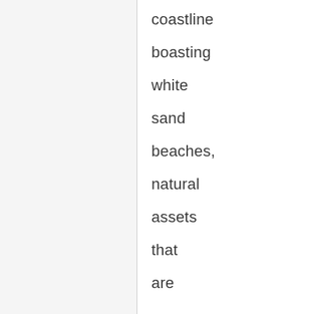coastline boasting white sand beaches, natural assets that are a cornerstone of tourism. There are many plans for aerotropolis-style development, including around